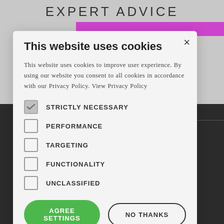EXPERT ADVICE
[Figure (screenshot): Cookie consent modal dialog overlaying a website with dark background. The modal contains a title 'This website uses cookies', descriptive text, checkboxes for STRICTLY NECESSARY (checked), PERFORMANCE, TARGETING, FUNCTIONALITY, UNCLASSIFIED, and two buttons: AGREE SETTINGS (green) and NO THANKS (outlined), plus a SHOW DETAILS link.]
This website uses cookies to improve user experience. By using our website you consent to all cookies in accordance with our Privacy Policy. View Privacy Policy
STRICTLY NECESSARY
PERFORMANCE
TARGETING
FUNCTIONALITY
UNCLASSIFIED